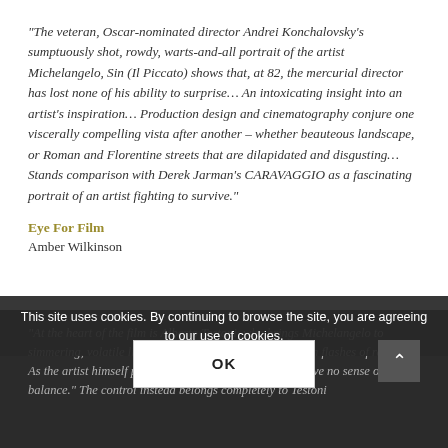“The veteran, Oscar-nominated director Andrei Konchalovsky’s sumptuously shot, rowdy, warts-and-all portrait of the artist Michelangelo, Sin (Il Piccato) shows that, at 82, the mercurial director has lost none of his ability to surprise… An intoxicating insight into an artist’s inspiration… Production design and cinematography conjure one viscerally compelling vista after another – whether beauteous landscape, or Roman and Florentine streets that are dilapidated and disgusting… Stands comparison with Derek Jarman’s CARAVAGGIO as a fascinating portrait of an artist fighting to survive.”
Eye For Film
Amber Wilkinson
“At the heart of the film is Alberto Testoni, who brings Michelangelo to simmering, volatile life, balancing his impetuousness with flashes of restraint. As the artist himself puts it: ‘I’m unable to control… I have no sense of balance.’ The control instead belongs completely to Testoni
This site uses cookies. By continuing to browse the site, you are agreeing to our use of cookies.
OK